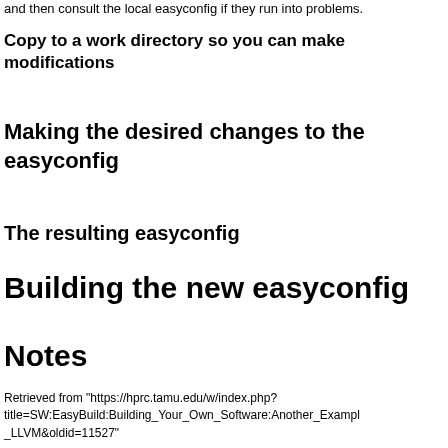and then consult the local easyconfig if they run into problems.
Copy to a work directory so you can make modifications
Making the desired changes to the easyconfig
The resulting easyconfig
Building the new easyconfig
Notes
Retrieved from "https://hprc.tamu.edu/w/index.php?title=SW:EasyBuild:Building_Your_Own_Software:Another_Example_LLVM&oldid=11527"